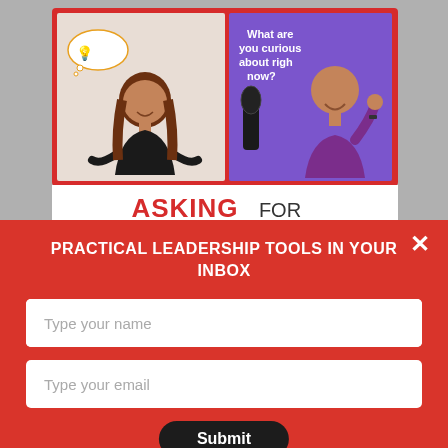[Figure (photo): Podcast thumbnail image showing two hosts: a woman with a thought bubble/lightbulb on a light background (left), and a man in purple shirt with text 'What are you curious about right now?' on purple background (right). Red border frame around both photos. Below photos text reads 'ASKING FOR' in white area.]
PRACTICAL LEADERSHIP TOOLS IN YOUR INBOX
Type your name
Type your email
Submit